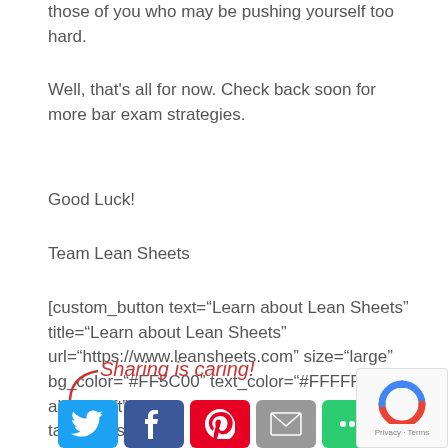those of you who may be pushing yourself too hard.
Well, that's all for now. Check back soon for more bar exam strategies.
Good Luck!
Team Lean Sheets
[custom_button text="Learn about Lean Sheets" title="Learn about Lean Sheets" url="https://www.leansheets.com" size="large" bg_color="#FF5C00" text_color="#FFFFFF" align="left" target="_self"]
[Figure (other): Sharing is caring! social media sharing buttons: Twitter, Facebook, Pinterest, Email, More]
[Figure (other): reCAPTCHA Privacy-Terms widget]